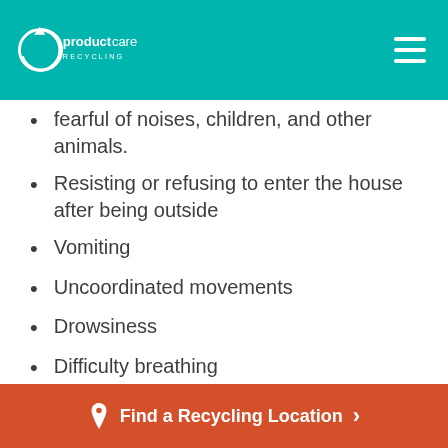productcare RECYCLING
fearful of noises, children, and other animals.
Resisting or refusing to enter the house after being outside
Vomiting
Uncoordinated movements
Drowsiness
Difficulty breathing
Bright cherry red lips, ears and gums
Unusual intolerance to exercise they usually partake in.
Find a Recycling Location